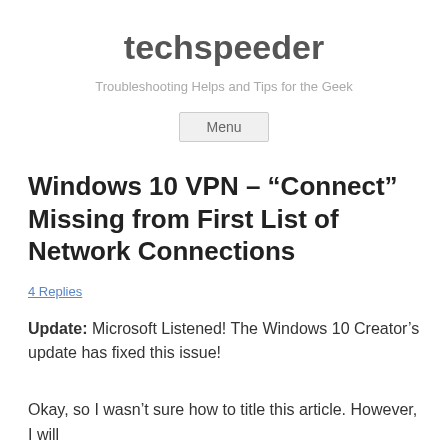techspeeder
Troubleshooting Helps and Tips for the Geek
Menu
Windows 10 VPN – “Connect” Missing from First List of Network Connections
4 Replies
Update: Microsoft Listened! The Windows 10 Creator’s update has fixed this issue!
Okay, so I wasn’t sure how to title this article. However, I will